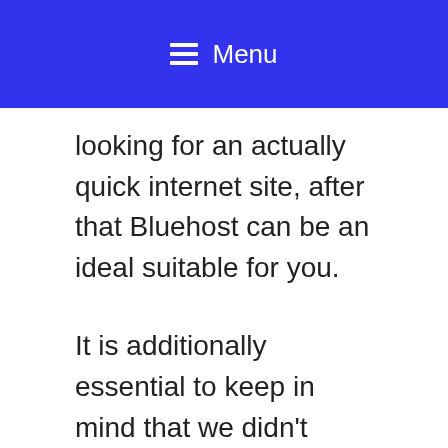☰ Menu
looking for an actually quick internet site, after that Bluehost can be an ideal suitable for you.
It is additionally essential to keep in mind that we didn't record any downtime throughout our screening. See the screenshot listed below for a detailed consider Bluehost server uptime.